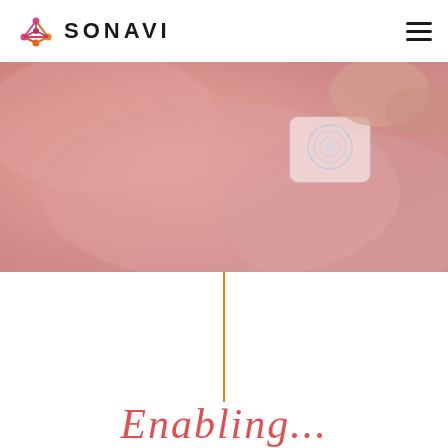SONAVI
[Figure (photo): Close-up photo of a baby with a medical sensor/patch device being placed on their skin, with a pinkish-red tinted background]
Enabling...